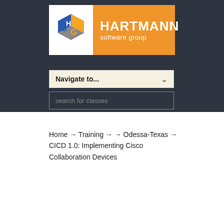[Figure (logo): Hartmann Software Group logo with colorful cube icon on white background and orange banner with white HARTMANN software group text]
Navigate to...
search for classes
Home → Training → → Odessa-Texas → CICD 1.0: Implementing Cisco Collaboration Devices